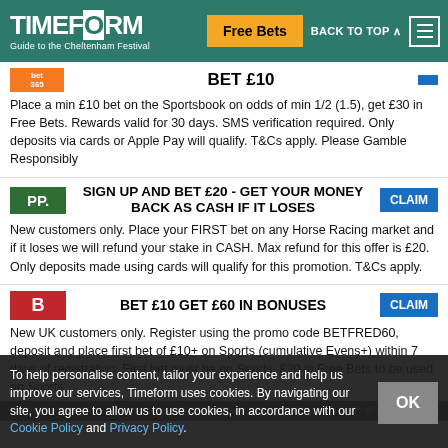TIMEFORM - Guide to the Cheltenham Festival | Free Bets | BACK TO TOP
BET £10
Place a min £10 bet on the Sportsbook on odds of min 1/2 (1.5), get £30 in Free Bets. Rewards valid for 30 days. SMS verification required. Only deposits via cards or Apple Pay will qualify. T&Cs apply. Please Gamble Responsibly
SIGN UP AND BET £20 - GET YOUR MONEY BACK AS CASH IF IT LOSES
New customers only. Place your FIRST bet on any Horse Racing market and if it loses we will refund your stake in CASH. Max refund for this offer is £20. Only deposits made using cards will qualify for this promotion. T&Cs apply.
BET £10 GET £60 IN BONUSES
New UK customers only. Register using the promo code BETFRED60, deposit and place first bet of £10+ on Sports (cumulative Evens+) within 7 days of registration. First bet must be on Sports. £20 in Free Bets to be used on Sports,
£10 in Free Bets to be used on Lotto and 50 Free Spins (20p per spin) credited within 48 hours of bet settlement. Further T&Cs apply.
To help personalise content, tailor your experience and help us improve our services, Timeform uses cookies. By navigating our site, you agree to allow us to use cookies, in accordance with our Cookie Policy and Privacy Policy.